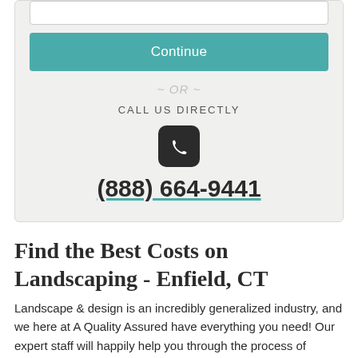Continue
~ OR ~
CALL US DIRECTLY
[Figure (illustration): Phone handset icon on dark rounded square background]
(888) 664-9441
Find the Best Costs on Landscaping - Enfield, CT
Landscape & design is an incredibly generalized industry, and we here at A Quality Assured have everything you need! Our expert staff will happily help you through the process of getting a new look for your garden, yard, or property. When it comes